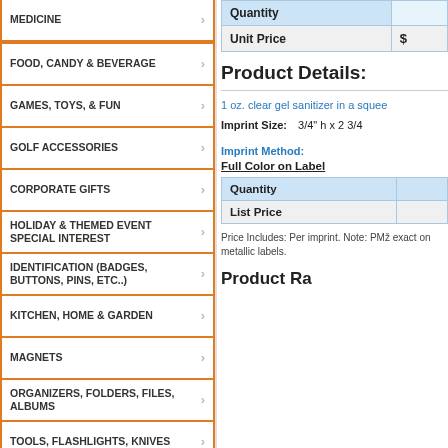MEDICINE >
FOOD, CANDY & BEVERAGE >
GAMES, TOYS, & FUN >
GOLF ACCESSORIES >
CORPORATE GIFTS >
HOLIDAY & THEMED EVENT SPECIAL INTEREST >
IDENTIFICATION (BADGES, BUTTONS, PINS, ETC..) >
KITCHEN, HOME & GARDEN >
MAGNETS >
ORGANIZERS, FOLDERS, FILES, ALBUMS >
TOOLS, FLASHLIGHTS, KNIVES >
OUTDOORS, LEISURE & SPORTING >
PACKAGING >
PAPER SPECIALTIES (STICKERS, CARDS, PADS..) >
POCKET, PURSE & WALLET ESSENTIALS >
| Quantity |  |
| --- | --- |
| Unit Price | $ |
Product Details:
1 oz. clear gel sanitizer in a squee
Imprint Size: 3/4" h x 2 3/4
Imprint Method:
Full Color on Label
| Quantity |  |
| --- | --- |
| List Price |  |
Price Includes: Per imprint. Note: PMS exact on metallic labels.
Product Ra